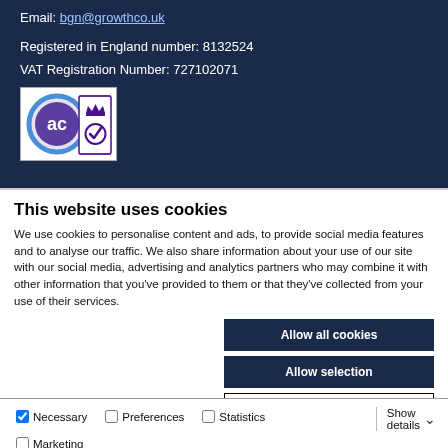Email: bgn@growthco.uk
Registered in England number: 8132524
VAT Registration Number: 727102071
[Figure (logo): Two certification logos: AC Approachable badge and a crown with checkmark official approval badge, displayed on white background.]
This website uses cookies
We use cookies to personalise content and ads, to provide social media features and to analyse our traffic. We also share information about your use of our site with our social media, advertising and analytics partners who may combine it with other information that you've provided to them or that they've collected from your use of their services.
Allow all cookies
Allow selection
Use necessary cookies only
Necessary   Preferences   Statistics   Marketing   Show details